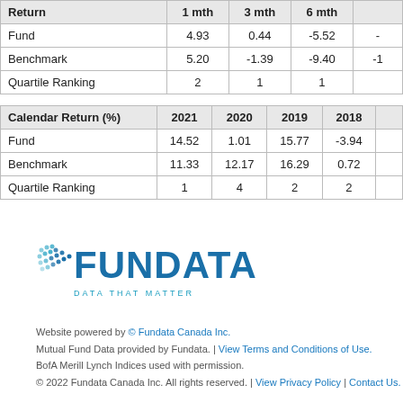| Return | 1 mth | 3 mth | 6 mth |
| --- | --- | --- | --- |
| Fund | 4.93 | 0.44 | -5.52 |
| Benchmark | 5.20 | -1.39 | -9.40 |
| Quartile Ranking | 2 | 1 | 1 |
| Calendar Return (%) | 2021 | 2020 | 2019 | 2018 |
| --- | --- | --- | --- | --- |
| Fund | 14.52 | 1.01 | 15.77 | -3.94 |
| Benchmark | 11.33 | 12.17 | 16.29 | 0.72 |
| Quartile Ranking | 1 | 4 | 2 | 2 |
[Figure (logo): Fundata logo with dots icon, text FUNDATA in blue, tagline DATA THAT MATTER]
Website powered by © Fundata Canada Inc. Mutual Fund Data provided by Fundata. | View Terms and Conditions of Use. BofA Merill Lynch Indices used with permission. © 2022 Fundata Canada Inc. All rights reserved. | View Privacy Policy | Contact Us.